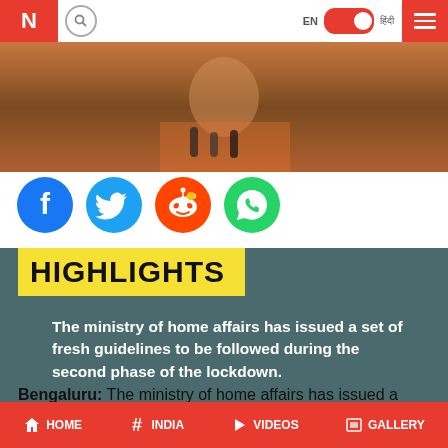News website header with logo, search, language toggle, and hamburger menu
[Figure (photo): Photo of a man in orange vest holding microphones at a press event]
[Figure (logo): Social media share icons: Facebook, Twitter, Reddit, WhatsApp]
HIGHLIGHTS
The ministry of home affairs has issued a set of fresh guidelines to be followed during the second phase of the lockdown.
Bengaluru: The ministry of home affairs has issued a
HOME  INDIA  VIDEOS  GALLERY